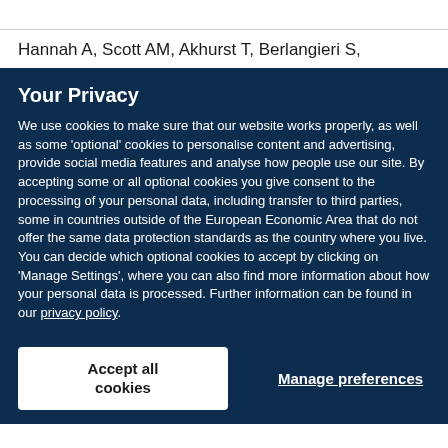Hannah A, Scott AM, Akhurst T, Berlangieri S,
Your Privacy
We use cookies to make sure that our website works properly, as well as some 'optional' cookies to personalise content and advertising, provide social media features and analyse how people use our site. By accepting some or all optional cookies you give consent to the processing of your personal data, including transfer to third parties, some in countries outside of the European Economic Area that do not offer the same data protection standards as the country where you live. You can decide which optional cookies to accept by clicking on 'Manage Settings', where you can also find more information about how your personal data is processed. Further information can be found in our privacy policy.
Accept all cookies
Manage preferences